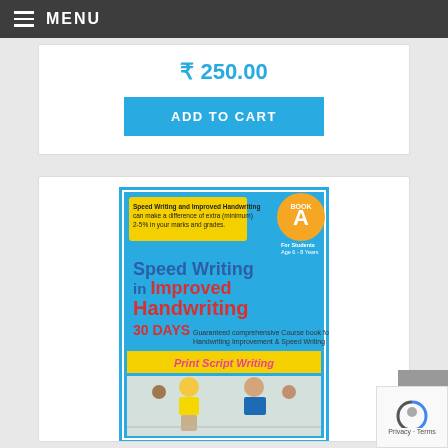MENU
₹ 250.00
ADD TO CART
[Figure (illustration): Book cover for 'Speed Writing in Improved Handwriting' - 30 DAYS Guaranteed comprehensive Course book for Handwriting Improvement & Speed Writing, Print Script Writing, Book A, For Students Age 6-8 Years. Blue background with large colorful text, yellow tag with speed writing text, and photo of children writing in classroom.]